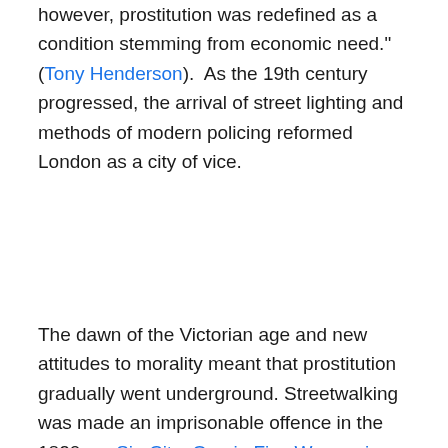however, prostitution was redefined as a condition stemming from economic need." (Tony Henderson).  As the 19th century progressed, the arrival of street lighting and methods of modern policing reformed London as a city of vice.
The dawn of the Victorian age and new attitudes to morality meant that prostitution gradually went underground. Streetwalking was made an imprisonable offence in the 1820s. – Sin City: One in Five Women in 1700's London Were Prostitutes
[Figure (illustration): A black and white engraving depicting an interior scene, likely from the 18th century, showing figures in a room with curtains and various objects.]